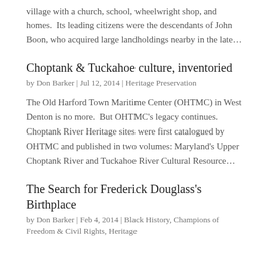village with a church, school, wheelwright shop, and homes.  Its leading citizens were the descendants of John Boon, who acquired large landholdings nearby in the late…
Choptank & Tuckahoe culture, inventoried
by Don Barker | Jul 12, 2014 | Heritage Preservation
The Old Harford Town Maritime Center (OHTMC) in West Denton is no more.  But OHTMC's legacy continues. Choptank River Heritage sites were first catalogued by OHTMC and published in two volumes: Maryland's Upper Choptank River and Tuckahoe River Cultural Resource…
The Search for Frederick Douglass's Birthplace
by Don Barker | Feb 4, 2014 | Black History, Champions of Freedom & Civil Rights, Heritage